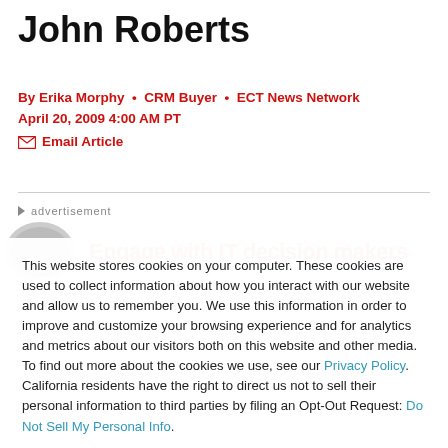John Roberts
By Erika Morphy • CRM Buyer • ECT News Network
April 20, 2009 4:00 AM PT
✉ Email Article
advertisement
[Figure (other): Partially visible advertisement banner with circular logo and red text 'Engage with IT decision makers']
This website stores cookies on your computer. These cookies are used to collect information about how you interact with our website and allow us to remember you. We use this information in order to improve and customize your browsing experience and for analytics and metrics about our visitors both on this website and other media. To find out more about the cookies we use, see our Privacy Policy. California residents have the right to direct us not to sell their personal information to third parties by filing an Opt-Out Request: Do Not Sell My Personal Info.
Accept